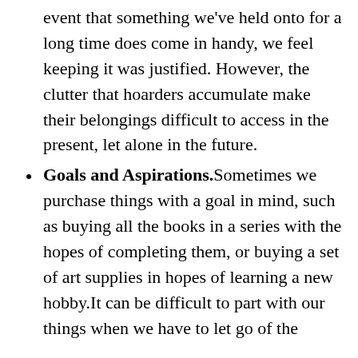event that something we've held onto for a long time does come in handy, we feel keeping it was justified. However, the clutter that hoarders accumulate make their belongings difficult to access in the present, let alone in the future.
Goals and Aspirations. Sometimes we purchase things with a goal in mind, such as buying all the books in a series with the hopes of completing them, or buying a set of art supplies in hopes of learning a new hobby. It can be difficult to part with our things when we have to let go of the